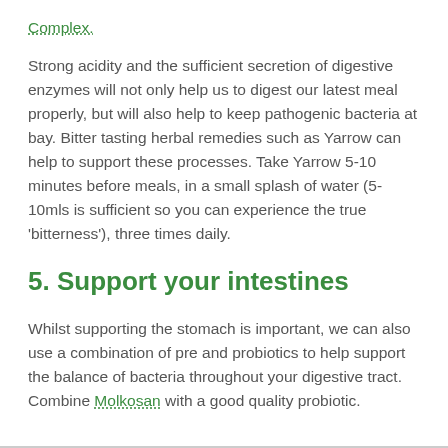Complex.
Strong acidity and the sufficient secretion of digestive enzymes will not only help us to digest our latest meal properly, but will also help to keep pathogenic bacteria at bay. Bitter tasting herbal remedies such as Yarrow can help to support these processes. Take Yarrow 5-10 minutes before meals, in a small splash of water (5-10mls is sufficient so you can experience the true 'bitterness'), three times daily.
5. Support your intestines
Whilst supporting the stomach is important, we can also use a combination of pre and probiotics to help support the balance of bacteria throughout your digestive tract. Combine Molkosan with a good quality probiotic.